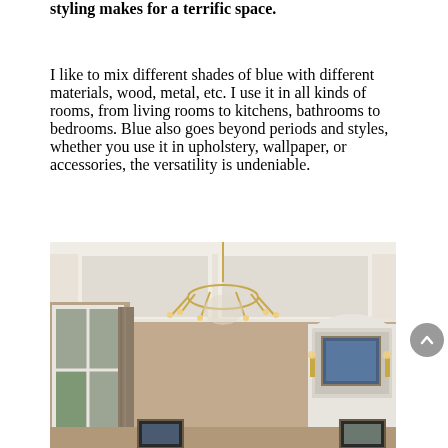styling makes for a terrific space.
I like to mix different shades of blue with different materials, wood, metal, etc. I use it in all kinds of rooms, from living rooms to kitchens, bathrooms to bedrooms. Blue also goes beyond periods and styles, whether you use it in upholstery, wallpaper, or accessories, the versatility is undeniable.
[Figure (photo): Interior room photo showing a beige/taupe living or dining area with a coffered white ceiling, an ornate gold crystal chandelier, French doors on the left with drapes, a white arched built-in niche on the right with wall sconces, and framed artwork.]